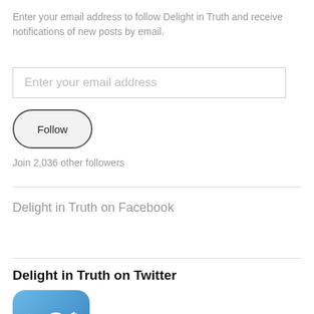Enter your email address to follow Delight in Truth and receive notifications of new posts by email.
Enter your email address
Follow
Join 2,036 other followers
Delight in Truth on Facebook
Delight in Truth on Twitter
[Figure (logo): Twitter bird logo icon on blue rounded-rectangle background]